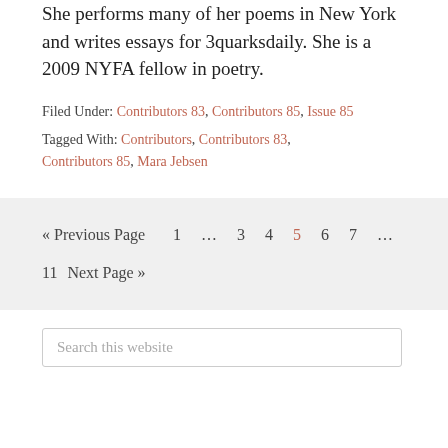She performs many of her poems in New York and writes essays for 3quarksdaily. She is a 2009 NYFA fellow in poetry.
Filed Under: Contributors 83, Contributors 85, Issue 85
Tagged With: Contributors, Contributors 83, Contributors 85, Mara Jebsen
« Previous Page   1 … 3 4 5 6 7 …  11   Next Page »
Search this website